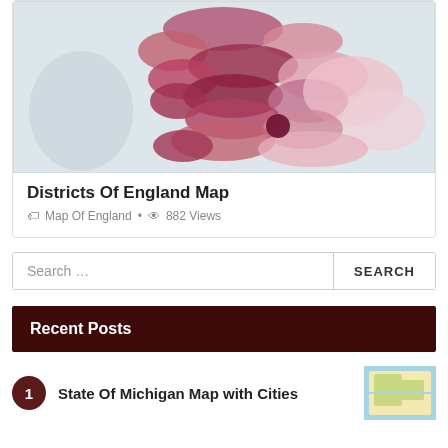[Figure (map): Districts of England choropleth map showing regions in shades of pink and red on a light blue-grey background]
Districts Of England Map
Map Of England · 882 Views
Search …
Recent Posts
1 State Of Michigan Map with Cities